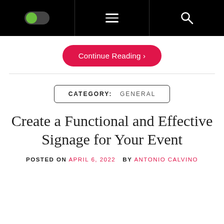Navigation bar with toggle, hamburger menu, and search icon
Continue Reading >
CATEGORY: GENERAL
Create a Functional and Effective Signage for Your Event
POSTED ON APRIL 6, 2022  BY ANTONIO CALVINO